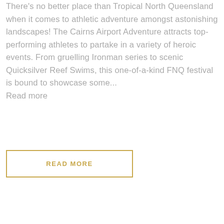There's no better place than Tropical North Queensland when it comes to athletic adventure amongst astonishing landscapes! The Cairns Airport Adventure attracts top-performing athletes to partake in a variety of heroic events. From gruelling Ironman series to scenic Quicksilver Reef Swims, this one-of-a-kind FNQ festival is bound to showcase some... Read more
READ MORE